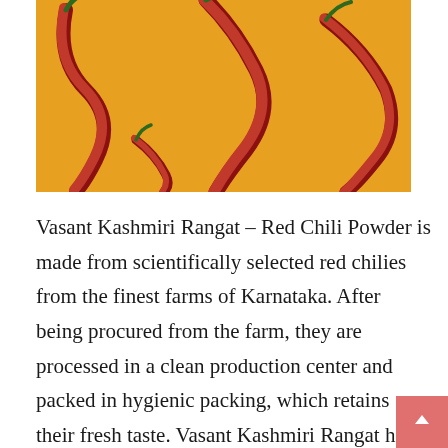[Figure (photo): Photo of red chili peppers arranged on an orange/yellow background, partially cropped at top]
Vasant Kashmiri Rangat – Red Chili Powder is made from scientifically selected red chilies from the finest farms of Karnataka. After being procured from the farm, they are processed in a clean production center and packed in hygienic packing, which retains their fresh taste. Vasant Kashmiri Rangat has a unique taste and gives a distinctive aroma to the food with a mildly spicy yet natural sweet taste. Its natural red color gives a wonderful look and freshness to the food.The chili also